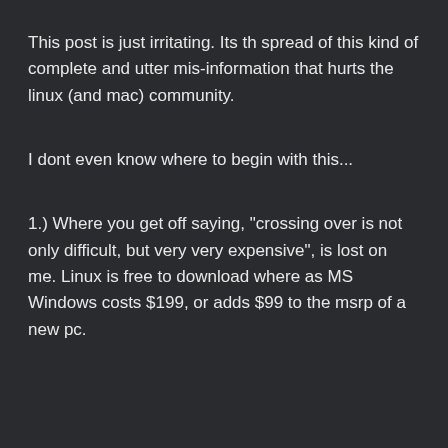This post is just irritating. Its th spread of this kind of complete and utter mis-information that hurts the linux (and mac) community.
I dont even know where to begin with this...
1.) Where you get off saying, "crossing over is not only difficult, but very very expensive", is lost on me. Linux is free to download where as MS Windows costs $199, or adds $99 to the msrp of a new pc.